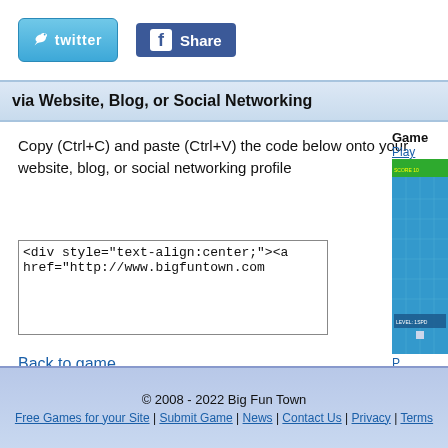[Figure (screenshot): Twitter button with bird logo]
[Figure (screenshot): Facebook Share button]
via Website, Blog, or Social Networking
Copy (Ctrl+C) and paste (Ctrl+V) the code below onto your website, blog, or social networking profile
<div style="text-align:center;"><a href="http://www.bigfuntown.com
Back to game
[Figure (screenshot): Game thumbnail showing a puzzle/game screenshot]
© 2008 - 2022 Big Fun Town
Free Games for your Site | Submit Game | News | Contact Us | Privacy | Terms